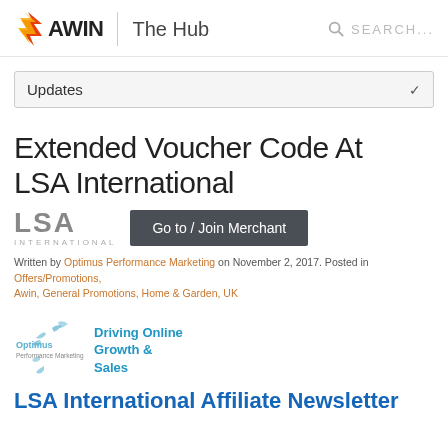AWIN | The Hub  SEARCH...
Updates
Extended Voucher Code At LSA International
[Figure (logo): LSA International logo with 'Go to / Join Merchant' button]
Written by Optimus Performance Marketing on November 2, 2017. Posted in Offers/Promotions, Awin, General Promotions, Home & Garden, UK
[Figure (logo): Optimus Performance Marketing logo with tagline 'Driving Online Growth & Sales']
LSA International Affiliate Newsletter